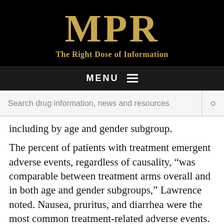[Figure (logo): MPR logo with tagline 'The Right Dose of Information' on black background]
MENU ≡
Search drug information, news and resources
including by age and gender subgroup.
The percent of patients with treatment emergent adverse events, regardless of causality, "was comparable between treatment arms overall and in both age and gender subgroups," Lawrence noted. Nausea, pruritus, and diarrhea were the most common treatment-related adverse events.
"Nausea, vomiting, and headache were slightly higher in both treatment groups for females compared to males," she added, while those in the vancomycin/aztreonam arm had slightly